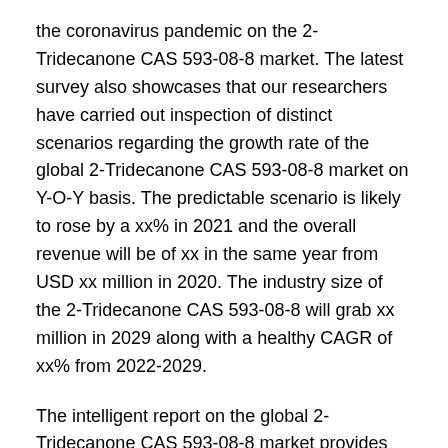the coronavirus pandemic on the 2-Tridecanone CAS 593-08-8 market. The latest survey also showcases that our researchers have carried out inspection of distinct scenarios regarding the growth rate of the global 2-Tridecanone CAS 593-08-8 market on Y-O-Y basis. The predictable scenario is likely to rose by a xx% in 2021 and the overall revenue will be of xx in the same year from USD xx million in 2020. The industry size of the 2-Tridecanone CAS 593-08-8 will grab xx million in 2029 along with a healthy CAGR of xx% from 2022-2029.
The intelligent report on the global 2-Tridecanone CAS 593-08-8 market provides deep analysis of the 2-Tridecanone CAS 593-08-8 industry segments including product type, application, special geographies and elite vendors. Moreover, this study report also serves as the pleasurable guide for the existing players and individuals